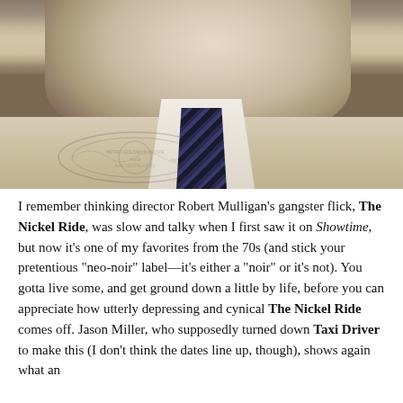[Figure (photo): Close-up photograph of a man in a beige/tan trench coat with a striped tie and white dress shirt, looking upward. An MGM watermark/logo is visible in the lower left of the image.]
I remember thinking director Robert Mulligan’s gangster flick, The Nickel Ride, was slow and talky when I first saw it on Showtime, but now it’s one of my favorites from the 70s (and stick your pretentious “neo-noir” label—it’s either a “noir” or it’s not). You gotta live some, and get ground down a little by life, before you can appreciate how utterly depressing and cynical The Nickel Ride comes off. Jason Miller, who supposedly turned down Taxi Driver to make this (I don’t think the dates line up, though), shows again what an